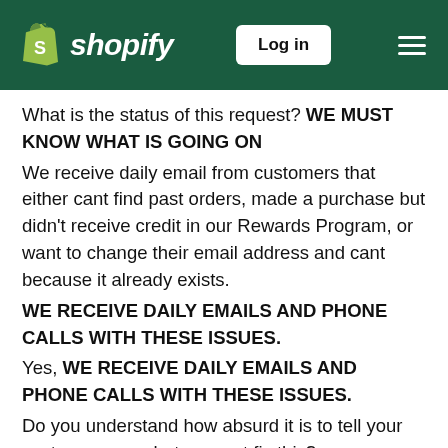Shopify — Log in
What is the status of this request? WE MUST KNOW WHAT IS GOING ON
We receive daily email from customers that either cant find past orders, made a purchase but didn't receive credit in our Rewards Program, or want to change their email address and cant because it already exists.
WE RECEIVE DAILY EMAILS AND PHONE CALLS WITH THESE ISSUES.
Yes, WE RECEIVE DAILY EMAILS AND PHONE CALLS WITH THESE ISSUES.
Do you understand how absurd it is to tell your customer, sorry but we cant fix this?
This is not a feature request, this is a requirement